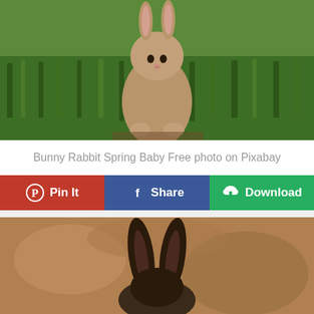[Figure (photo): A baby bunny rabbit standing upright on green grass, viewed from the front. The rabbit is brown/tan colored with visible fur texture. Green grass fills the background.]
Bunny Rabbit Spring Baby Free photo on Pixabay
Pin It | Share | Download
[Figure (photo): A rabbit photographed from above/behind, showing long dark ears against a blurred brown/tan outdoor background.]